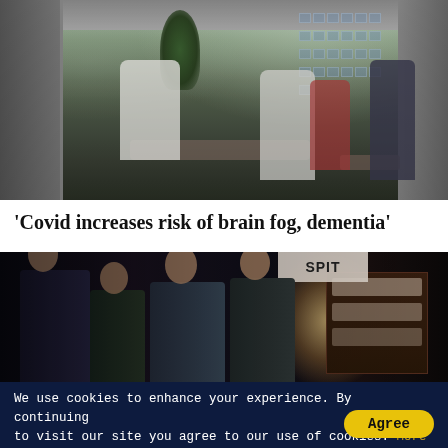[Figure (photo): Outdoor hospital scene with healthcare workers in white PPE suits attending to patients on gurneys. Trees and building visible in background. Multiple figures including medical staff and bystanders.]
'Covid increases risk of brain fog, dementia'
[Figure (photo): Nighttime street food scene. Four people (three men and a woman) looking toward a brightly lit food stall with sign reading 'SPIT' or similar. Dark ambient lighting with warm glow from the stall.]
We use cookies to enhance your experience. By continuing to visit our site you agree to our use of cookies. More info